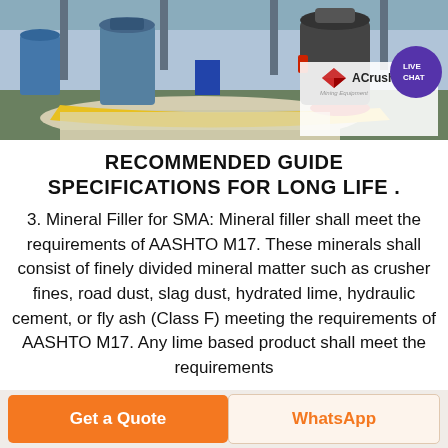[Figure (photo): Mining equipment factory floor with large industrial crushers, yellow and red barriers, and small white aggregate material on the floor. ACrusher Mining Equipment logo overlay with Live Chat badge in top-right corner of image.]
RECOMMENDED GUIDE SPECIFICATIONS FOR LONG LIFE .
3. Mineral Filler for SMA: Mineral filler shall meet the requirements of AASHTO M17. These minerals shall consist of finely divided mineral matter such as crusher fines, road dust, slag dust, hydrated lime, hydraulic cement, or fly ash (Class F) meeting the requirements of AASHTO M17. Any lime based product shall meet the requirements